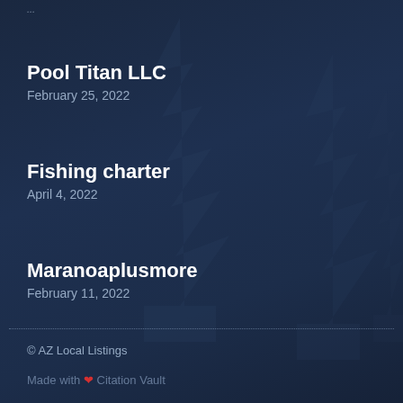...
Pool Titan LLC
February 25, 2022
Fishing charter
April 4, 2022
Maranoaplusmore
February 11, 2022
© AZ Local Listings
Made with ❤ Citation Vault